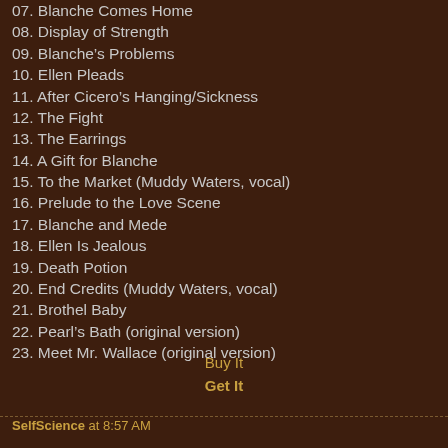07. Blanche Comes Home
08. Display of Strength
09. Blanche's Problems
10. Ellen Pleads
11. After Cicero's Hanging/Sickness
12. The Fight
13. The Earrings
14. A Gift for Blanche
15. To the Market (Muddy Waters, vocal)
16. Prelude to the Love Scene
17. Blanche and Mede
18. Ellen Is Jealous
19. Death Potion
20. End Credits (Muddy Waters, vocal)
21. Brothel Baby
22. Pearl's Bath (original version)
23. Meet Mr. Wallace (original version)
Buy It
Get It
SelfScience at 8:57 AM